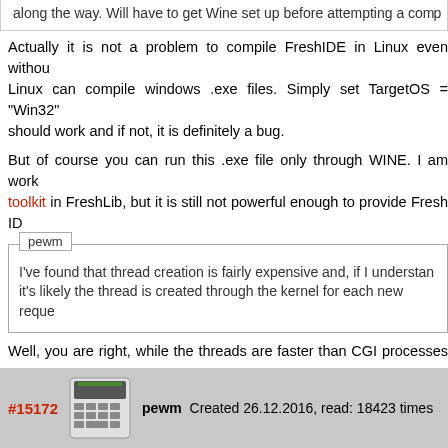along the way. Will have to get Wine set up before attempting a compile
Actually it is not a problem to compile FreshIDE in Linux even without Wine. Linux can compile windows .exe files. Simply set TargetOS = "Win32" should work and if not, it is definitely a bug.
But of course you can run this .exe file only through WINE. I am working on toolkit in FreshLib, but it is still not powerful enough to provide Fresh ID
I've found that thread creation is fairly expensive and, if I understand correctly, it's likely the thread is created through the kernel for each new reque
Well, you are right, while the threads are faster than CGI processes sp the program, compared to the fastest possible performance.
But notice, that FastCGI protocol allows reusing connections (i.e. thre performance. Of course, this depends on how the web server implen AsmBB handles this case properly.
Even better performance can be provided by using non blocking soc make the things much better in this very application.
#15172  pewm  Created 26.12.2016, read: 18423 times